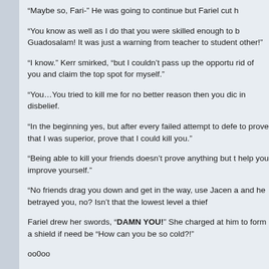“Maybe so, Fari-” He was going to continue but Fariel cut h
“You know as well as I do that you were skilled enough to b Guadosalam! It was just a warning from teacher to student other!”
“I know.” Kerr smirked, “but I couldn’t pass up the opportu rid of you and claim the top spot for myself.”
“You…You tried to kill me for no better reason then you dic in disbelief.
“In the beginning yes, but after every failed attempt to defe to prove that I was superior, prove that I could kill you.”
“Being able to kill your friends doesn’t prove anything but t help you improve yourself.”
“No friends drag you down and get in the way, use Jacen a and he betrayed you, no? Isn’t that the lowest level a thief
Fariel drew her swords, “DAMN YOU!” She charged at him to form a shield if need be “How can you be so cold?!”
oo0oo
Jacen’s finger on the trigger of his rifle was shaking now, h charged towards him, was his brother lying to him…?
oo0oo
Kerr left his cover and the dark Fariel but came back b